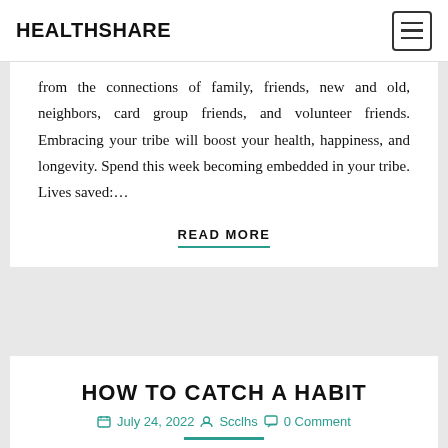HEALTHSHARE
from the connections of family, friends, new and old, neighbors, card group friends, and volunteer friends. Embracing your tribe will boost your health, happiness, and longevity. Spend this week becoming embedded in your tribe. Lives saved:…
READ MORE
HOW TO CATCH A HABIT
July 24, 2022  Scclhs  0 Comment